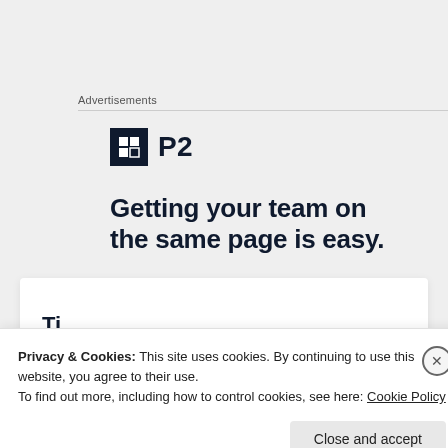Advertisements
[Figure (logo): P2 logo: dark square icon with grid pattern followed by bold text 'P2']
Getting your team on the same page is easy.
Privacy & Cookies: This site uses cookies. By continuing to use this website, you agree to their use.
To find out more, including how to control cookies, see here: Cookie Policy
Close and accept